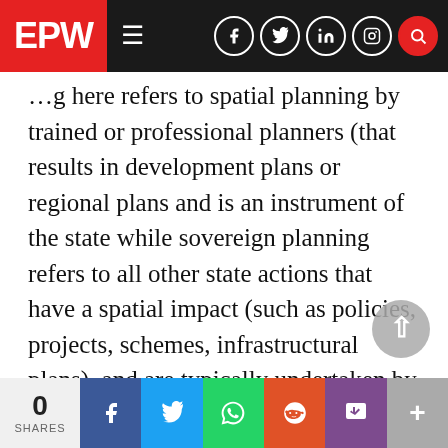EPW [navigation bar with social icons]
...g here refers to spatial planning by trained or professional planners (that results in development plans or regional plans and is an instrument of the state while sovereign planning refers to all other state actions that have a spatial impact (such as policies, projects, schemes, infrastructural plans), and are typically undertaken by the administrative and political leadership with no leadership by technical planners in the core conceptualisation. State planning is largely economic planning and a-spatial in conception. Further, in the case of the transformation of the agrarian landscape around Panvel, it is urban
0 SHARES [Facebook] [Twitter] [WhatsApp] [Reddit] [Pocket] [+]